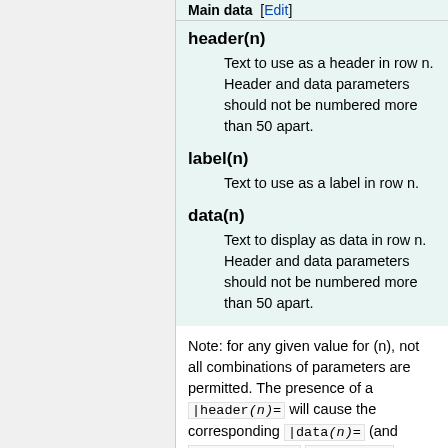Main data [Edit]
header(n)
Text to use as a header in row n. Header and data parameters should not be numbered more than 50 apart.
label(n)
Text to use as a label in row n.
data(n)
Text to display as data in row n. Header and data parameters should not be numbered more than 50 apart.
Note: for any given value for (n), not all combinations of parameters are permitted. The presence of a |header(n)= will cause the corresponding |data(n)= (and |rowclass(n)= |label(n)= , see below) to be ignored; the